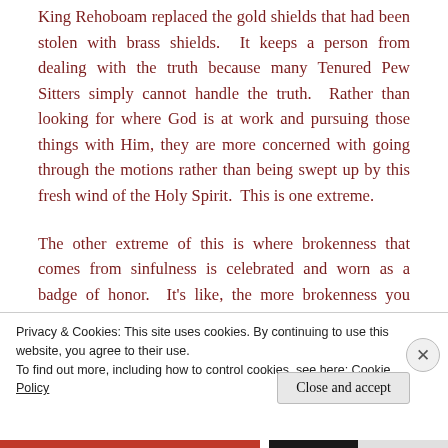King Rehoboam replaced the gold shields that had been stolen with brass shields.  It keeps a person from dealing with the truth because many Tenured Pew Sitters simply cannot handle the truth.  Rather than looking for where God is at work and pursuing those things with Him, they are more concerned with going through the motions rather than being swept up by this fresh wind of the Holy Spirit.  This is one extreme.
The other extreme of this is where brokenness that comes from sinfulness is celebrated and worn as a badge of honor.  It's like, the more brokenness you reveal and share, suddenly the more holy and Christ-
Privacy & Cookies: This site uses cookies. By continuing to use this website, you agree to their use.
To find out more, including how to control cookies, see here: Cookie Policy